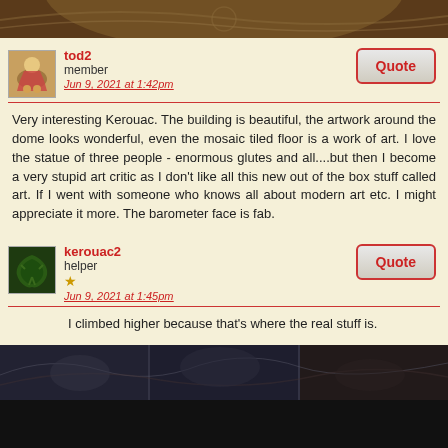[Figure (photo): Top decorative image showing ornate carved wooden or stone architectural detail with dark brown tones]
tod2
member
Jun 9, 2021 at 1:42pm
[Figure (photo): Avatar image for user tod2, showing a figure in red on a decorative background]
Quote
Very interesting Kerouac. The building is beautiful, the artwork around the dome looks wonderful, even the mosaic tiled floor is a work of art. I love the statue of three people - enormous glutes and all....but then I become a very stupid art critic as I don't like all this new out of the box stuff called art. If I went with someone who knows all about modern art etc. I might appreciate it more. The barometer face is fab.
kerouac2
helper
Jun 9, 2021 at 1:45pm
[Figure (photo): Avatar image for user kerouac2, showing a dark green dragon silhouette on green background]
Quote
I climbed higher because that's where the real stuff is.
[Figure (photo): Bottom image showing a dark dramatic scene with battle or landscape imagery in dark gray and brown tones]